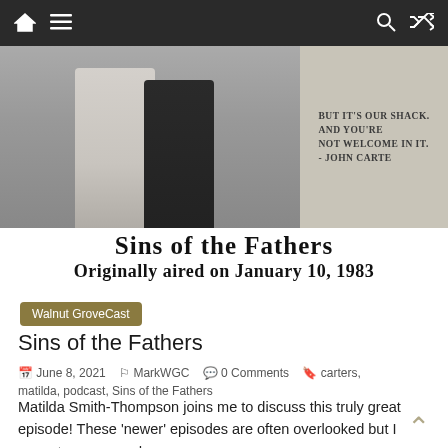Navigation bar with home, menu, search and shuffle icons
[Figure (photo): Hero image showing two figures in period costume (one in light grey/white, one in dark suit) on the left side, with a quote on the right: 'but it's our shack. And you're not welcome in it. - John Carte']
Sins of the Fathers Originally aired on January 10, 1983
Walnut GroveCast
Sins of the Fathers
June 8, 2021   MarkWGC   0 Comments   carters, matilda, podcast, Sins of the Fathers
Matilda Smith-Thompson joins me to discuss this truly great episode!  These ‘newer’ episodes are often overlooked but I cannot recommend
Read more